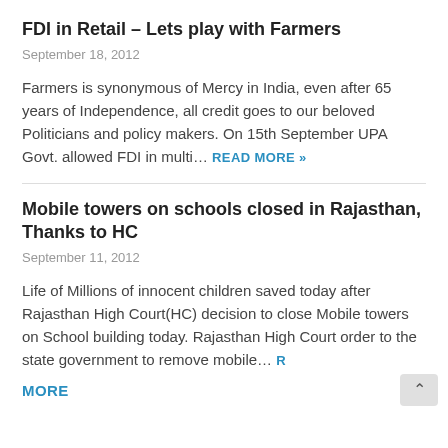FDI in Retail – Lets play with Farmers
September 18, 2012
Farmers is synonymous of Mercy in India, even after 65 years of Independence, all credit goes to our beloved Politicians and policy makers. On 15th September UPA Govt. allowed FDI in multi… READ MORE »
Mobile towers on schools closed in Rajasthan, Thanks to HC
September 11, 2012
Life of Millions of innocent children saved today after Rajasthan High Court(HC) decision to close Mobile towers on School building today. Rajasthan High Court order to the state government to remove mobile… R MORE